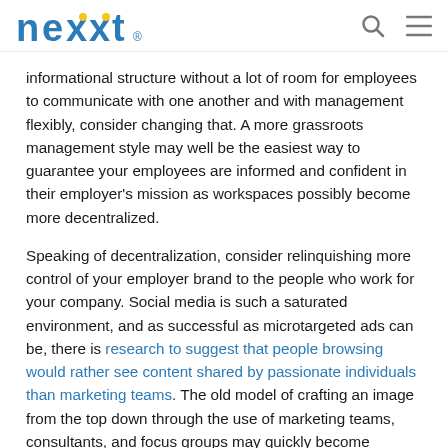nexxt [logo] [search icon] [menu icon]
informational structure without a lot of room for employees to communicate with one another and with management flexibly, consider changing that. A more grassroots management style may well be the easiest way to guarantee your employees are informed and confident in their employer's mission as workspaces possibly become more decentralized.
Speaking of decentralization, consider relinquishing more control of your employer brand to the people who work for your company. Social media is such a saturated environment, and as successful as microtargeted ads can be, there is research to suggest that people browsing would rather see content shared by passionate individuals than marketing teams. The old model of crafting an image from the top down through the use of marketing teams, consultants, and focus groups may quickly become outdated as more and more companies outsource their image to relatively naturalistic social media posts from